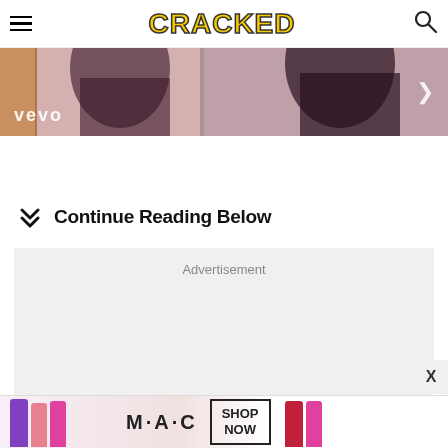CRACKED
[Figure (screenshot): Vevo music video banner with pink/mauve tones and vevo logo watermark, right arrow navigation]
Continue Reading Below
[Figure (infographic): Advertisement placeholder box with grey background]
[Figure (infographic): MAC cosmetics bottom banner advertisement with lipsticks, MAC logo, and SHOP NOW button]